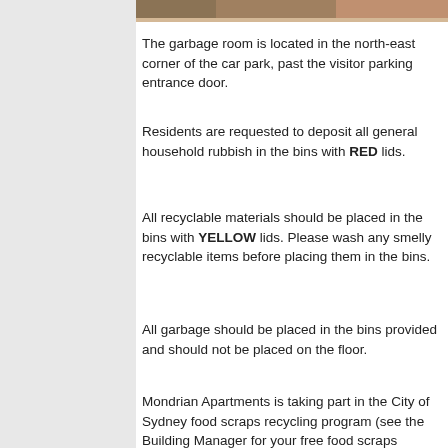[Figure (photo): Partial photo of a bin or garbage room, cropped at top of page]
The garbage room is located in the north-east corner of the car park, past the visitor parking entrance door.
Residents are requested to deposit all general household rubbish in the bins with RED lids.
All recyclable materials should be placed in the bins with YELLOW lids. Please wash any smelly recyclable items before placing them in the bins.
All garbage should be placed in the bins provided and should not be placed on the floor.
Mondrian Apartments is taking part in the City of Sydney food scraps recycling program (see the Building Manager for your free food scraps caddy), food scraps should be placed in the bin with the MAROON lid (this bin is